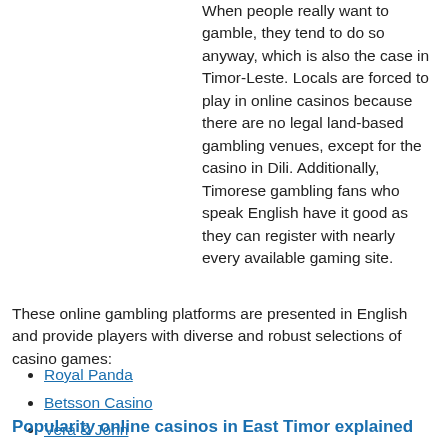When people really want to gamble, they tend to do so anyway, which is also the case in Timor-Leste. Locals are forced to play in online casinos because there are no legal land-based gambling venues, except for the casino in Dili. Additionally, Timorese gambling fans who speak English have it good as they can register with nearly every available gaming site.
These online gambling platforms are presented in English and provide players with diverse and robust selections of casino games:
Royal Panda
Betsson Casino
Vera & John
Popularity online casinos in East Timor explained